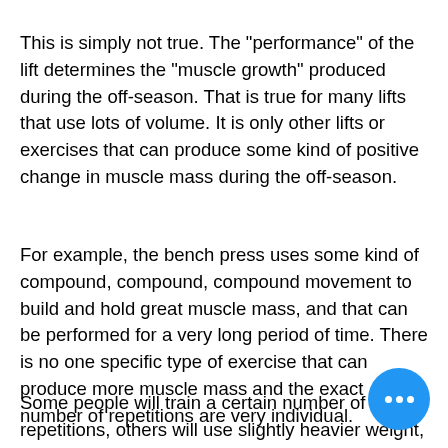This is simply not true. The "performance" of the lift determines the "muscle growth" produced during the off-season. That is true for many lifts that use lots of volume. It is only other lifts or exercises that can produce some kind of positive change in muscle mass during the off-season.
For example, the bench press uses some kind of compound, compound, compound movement to build and hold great muscle mass, and that can be performed for a very long period of time. There is no one specific type of exercise that can produce more muscle mass and the exact number of repetitions are very individual.
Some people will train a certain number of repetitions, others will use slightly heavier weight, and others will go even heavier. Some will lift as much as they can, while